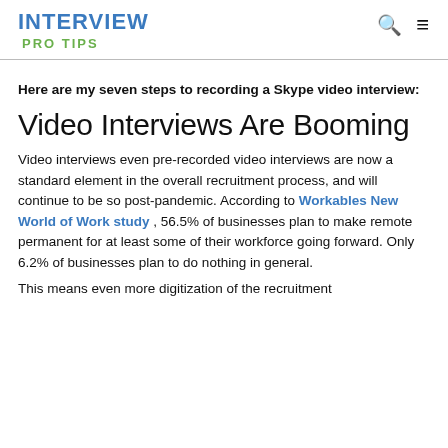INTERVIEW PRO TIPS
Here are my seven steps to recording a Skype video interview:
Video Interviews Are Booming
Video interviews even pre-recorded video interviews are now a standard element in the overall recruitment process, and will continue to be so post-pandemic. According to Workables New World of Work study , 56.5% of businesses plan to make remote permanent for at least some of their workforce going forward. Only 6.2% of businesses plan to do nothing in general.
This means even more digitization of the recruitment